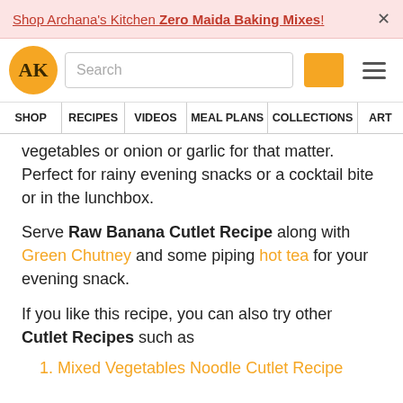Shop Archana's Kitchen Zero Maida Baking Mixes!
[Figure (logo): AK logo - circular orange badge with AK letters, search bar, orange search button, and hamburger menu icon]
SHOP | RECIPES | VIDEOS | MEAL PLANS | COLLECTIONS | ART
vegetables or onion or garlic for that matter. Perfect for rainy evening snacks or a cocktail bite or in the lunchbox.
Serve Raw Banana Cutlet Recipe along with Green Chutney and some piping hot tea for your evening snack.
If you like this recipe, you can also try other Cutlet Recipes such as
Mixed Vegetables Noodle Cutlet Recipe